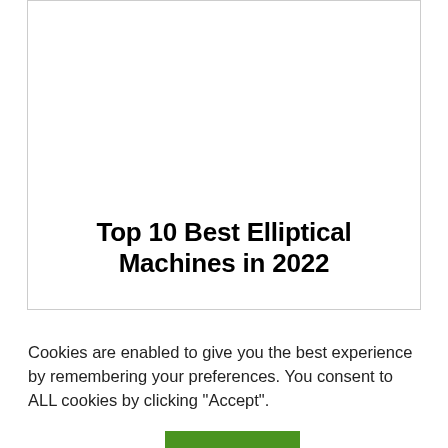Top 10 Best Elliptical Machines in 2022
Cookies are enabled to give you the best experience by remembering your preferences. You consent to ALL cookies by clicking "Accept".
Cookie settings
ACCEPT